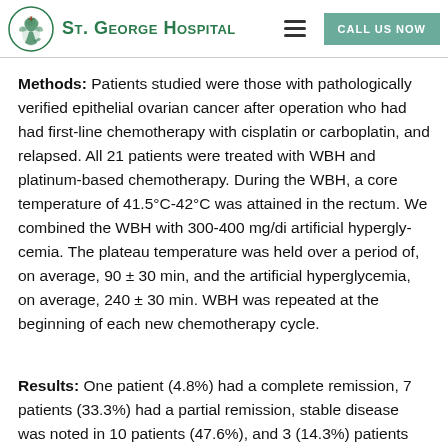St. George Hospital
Methods: Patients studied were those with pathologically verified epithelial ovarian cancer after operation who had had first-line chemotherapy with cisplatin or carboplatin, and relapsed. All 21 patients were treated with WBH and platinum-based chemotherapy. During the WBH, a core temperature of 41.5°C-42°C was attained in the rectum. We combined the WBH with 300-400 mg/di artificial hyperglycemia. The plateau temperature was held over a period of, on average, 90 ± 30 min, and the artificial hyperglycemia, on average, 240 ± 30 min. WBH was repeated at the beginning of each new chemotherapy cycle.
Results: One patient (4.8%) had a complete remission, 7 patients (33.3%) had a partial remission, stable disease was noted in 10 patients (47.6%), and 3 (14.3%) patients did not respond and had progressive disease. Median time to